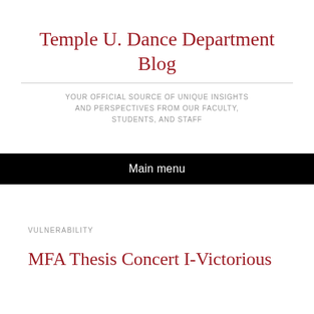Temple U. Dance Department Blog
YOUR OFFICIAL SOURCE OF UNIQUE INSIGHTS AND PERSPECTIVES FROM OUR FACULTY, STUDENTS, AND STAFF
Main menu
VULNERABILITY
MFA Thesis Concert I-Victorious